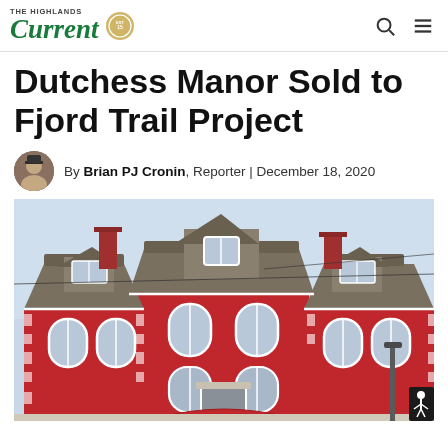The Highlands Current
Dutchess Manor Sold to Fjord Trail Project
By Brian PJ Cronin, Reporter | December 18, 2020
[Figure (photo): Exterior of Dutchess Manor, a large red brick Victorian-style building with a mansard roof, dormers, and white trim details, photographed from street level.]